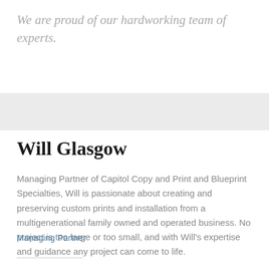We are proud of our hardworking team of experts.
Will Glasgow
Managing Partner of Capitol Copy and Print and Blueprint Specialties, Will is passionate about creating and preserving custom prints and installation from a multigenerational family owned and operated business. No project is too large or too small, and with Will's expertise and guidance any project can come to life.
Managing Partner